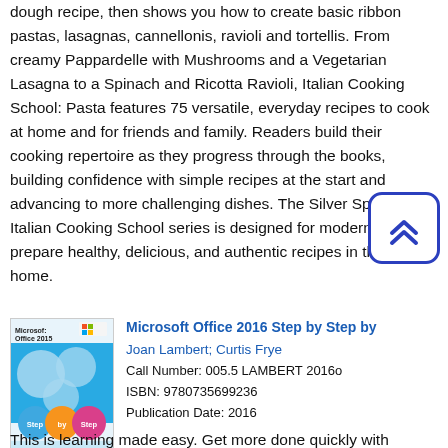dough recipe, then shows you how to create basic ribbon pastas, lasagnas, cannellonis, ravioli and tortellis. From creamy Pappardelle with Mushrooms and a Vegetarian Lasagna to a Spinach and Ricotta Ravioli, Italian Cooking School: Pasta features 75 versatile, everyday recipes to cook at home and for friends and family. Readers build their cooking repertoire as they progress through the books, building confidence with simple recipes at the start and advancing to more challenging dishes. The Silver Spoon Italian Cooking School series is designed for modern cooks to prepare healthy, delicious, and authentic recipes in their own home.
[Figure (illustration): Blue rounded square button with double up-chevron arrows icon]
[Figure (illustration): Book cover for Microsoft Office 2016 Step by Step, showing colorful circles on a blue background with 'Microsoft Office 2016 Step by Step' title]
Microsoft Office 2016 Step by Step by Joan Lambert; Curtis Frye
Call Number: 005.5 LAMBERT 2016o
ISBN: 9780735699236
Publication Date: 2016
This is learning made easy. Get more done quickly with